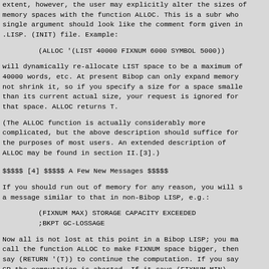extent, however, the user may explicitly alter the sizes of memory spaces with the function ALLOC.  This is a subr whose single argument should look like the comment form given in the .LISP. (INIT) file.  Example:
(ALLOC '(LIST 40000 FIXNUM 6000 SYMBOL 5000))
will dynamically re-allocate LIST space to be a maximum of 40000 words, etc.  At present Bibop can only expand memory, not shrink it, so if you specify a size for a space smaller than its current actual size, your request is ignored for that space.  ALLOC returns T.
(The ALLOC function is actually considerably more complicated, but the above description should suffice for the purposes of most users.  An extended description of ALLOC may be found in section II.[3].)
$$$$$ [4] $$$$$ A Few New Messages $$$$$
If you should run out of memory for any reason, you will see a message similar to that in non-Bibop LISP, e.g.:
(FIXNUM MAX) STORAGE CAPACITY EXCEEDED
;BKPT GC-LOSSAGE
Now all is not lost at this point in a Bibop LISP;  you may call the function ALLOC to make FIXNUM space bigger, then say (RETURN '(T)) to continue the computation.  If you say GR the computation is aborted.  If it says (FIXNUM MIN)